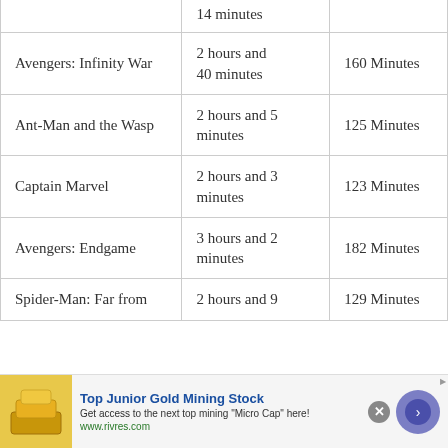| Movie | Duration (text) | Duration (minutes) |
| --- | --- | --- |
|  | 14 minutes |  |
| Avengers: Infinity War | 2 hours and 40 minutes | 160 Minutes |
| Ant-Man and the Wasp | 2 hours and 5 minutes | 125 Minutes |
| Captain Marvel | 2 hours and 3 minutes | 123 Minutes |
| Avengers: Endgame | 3 hours and 2 minutes | 182 Minutes |
| Spider-Man: Far from | 2 hours and 9 | 129 Minutes |
[Figure (infographic): Advertisement banner for Top Junior Gold Mining Stock from www.rivres.com with gold bar image and arrow button]